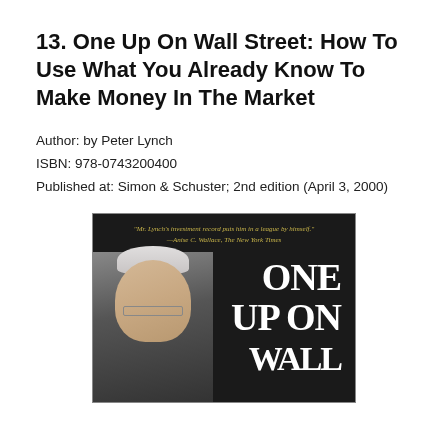13. One Up On Wall Street: How To Use What You Already Know To Make Money In The Market
Author: by Peter Lynch
ISBN: 978-0743200400
Published at: Simon & Schuster; 2nd edition (April 3, 2000)
[Figure (photo): Book cover of 'One Up On Wall Street' by Peter Lynch. Dark background with a photo of Peter Lynch (white-haired man with glasses). Gold italic quote at top: '"Mr. Lynch's investment record puts him in a league by himself." —Anise C. Wallace, The New York Times'. Large white serif text reads 'ONE UP ON WALL' on the right side.]